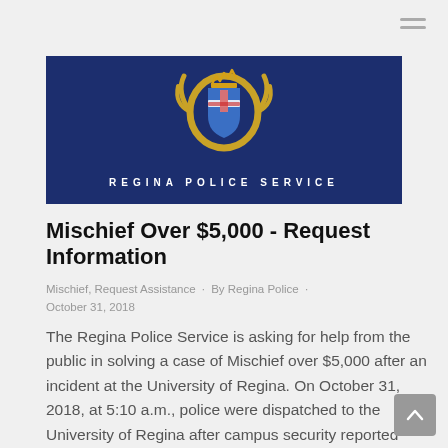[Figure (logo): Regina Police Service logo banner with crest/badge on dark navy blue background with text REGINA POLICE SERVICE]
Mischief Over $5,000 - Request Information
Mischief, Request Assistance · By Regina Police · October 31, 2018
The Regina Police Service is asking for help from the public in solving a case of Mischief over $5,000 after an incident at the University of Regina. On October 31, 2018, at 5:10 a.m., police were dispatched to the University of Regina after campus security reported damage in an